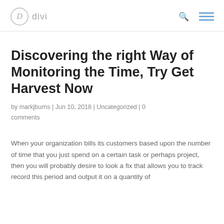[Figure (logo): Divi logo with circle D and 'divi' text in gray]
Discovering the right Way of Monitoring the Time, Try Get Harvest Now
by markjburns | Jun 10, 2018 | Uncategorized | 0 comments
When your organization bills its customers based upon the number of time that you just spend on a certain task or perhaps project, then you will probably desire to look a fix that allows you to track record this period and output it on a quantity of